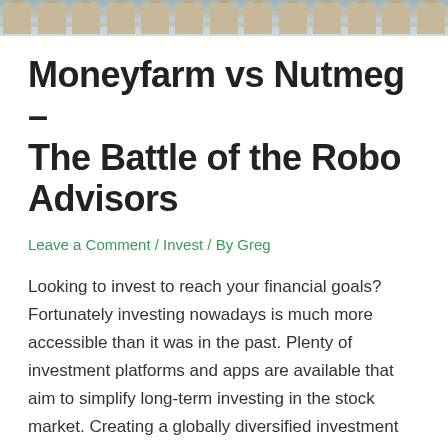[Figure (photo): Header image showing fence posts or similar decorative/outdoor elements with a muted blue-grey color palette]
Moneyfarm vs Nutmeg – The Battle of the Robo Advisors
Leave a Comment / Invest / By Greg
Looking to invest to reach your financial goals? Fortunately investing nowadays is much more accessible than it was in the past. Plenty of investment platforms and apps are available that aim to simplify long-term investing in the stock market. Creating a globally diversified investment portfolio is now no longer only available for the rich and ...